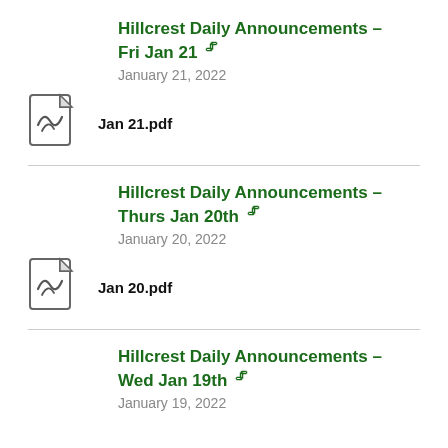Hillcrest Daily Announcements – Fri Jan 21
January 21, 2022
Jan 21.pdf
Hillcrest Daily Announcements – Thurs Jan 20th
January 20, 2022
Jan 20.pdf
Hillcrest Daily Announcements – Wed Jan 19th
January 19, 2022